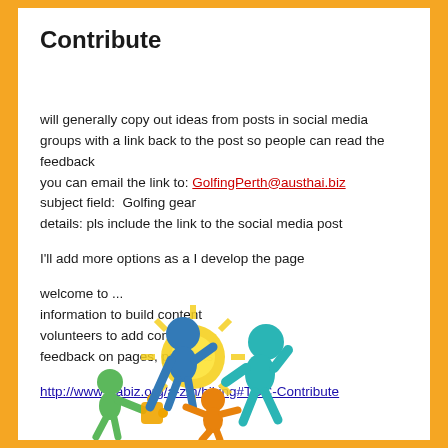Contribute
will generally copy out ideas from posts in social media groups with a link back to the post so people can read the feedback
you can email the link to: GolfingPerth@austhai.biz
subject field:  Golfing gear
details: pls include the link to the social media post
I'll add more options as a I develop the page
welcome to ...
information to build content
volunteers to add content
feedback on pages, products
http://www.wabiz.org/a-z/h/hiking#TOC-Contribute
[Figure (illustration): Colorful cartoon figures (blue, green, orange, teal) collaborating around a bright yellow sun/star burst, sharing puzzle pieces — teamwork illustration]